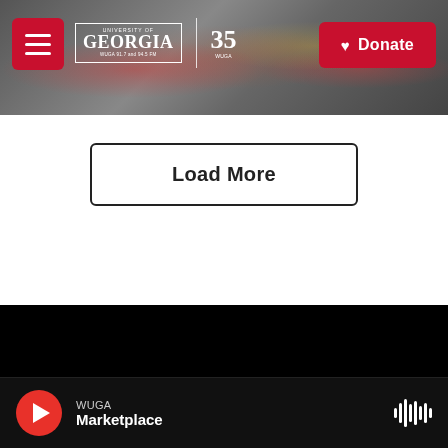[Figure (screenshot): WUGA University of Georgia public radio website header with hamburger menu, UGA/WUGA logo, and red Donate button over blurred radio mixing board background]
Load More
[Figure (logo): University of Georgia WUGA 91.7 and 94.5 FM logo with 35th anniversary badge, white on black background]
© 2022 WUGA | University of Georgia
Contact Us
Support WUGA
WUGA Marketplace